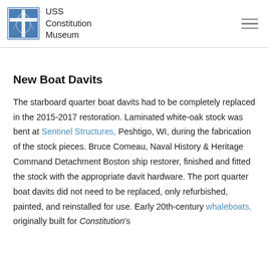USS Constitution Museum
New Boat Davits
The starboard quarter boat davits had to be completely replaced in the 2015-2017 restoration. Laminated white-oak stock was bent at Sentinel Structures, Peshtigo, WI, during the fabrication of the stock pieces. Bruce Comeau, Naval History & Heritage Command Detachment Boston ship restorer, finished and fitted the stock with the appropriate davit hardware. The port quarter boat davits did not need to be replaced, only refurbished, painted, and reinstalled for use. Early 20th-century whaleboats, originally built for Constitution's